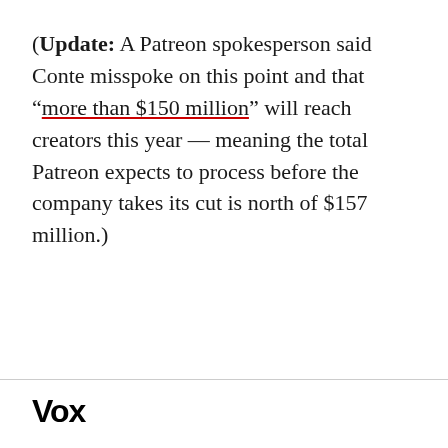(Update: A Patreon spokesperson said Conte misspoke on this point and that “more than $150 million” will reach creators this year — meaning the total Patreon expects to process before the company takes its cut is north of $157 million.)
Vox